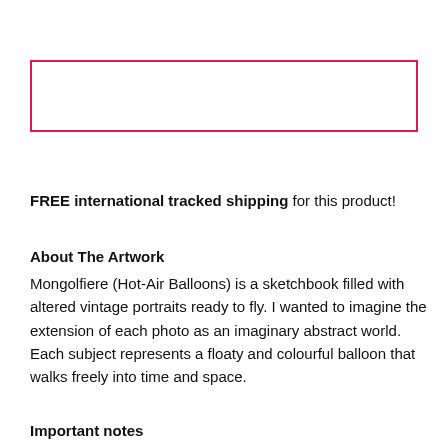[Figure (other): Empty pink/magenta bordered rectangle, likely a placeholder for an image]
FREE international tracked shipping for this product!
About The Artwork
Mongolfiere (Hot-Air Balloons) is a sketchbook filled with altered vintage portraits ready to fly. I wanted to imagine the extension of each photo as an imaginary abstract world. Each subject represents a floaty and colourful balloon that walks freely into time and space.
Important notes